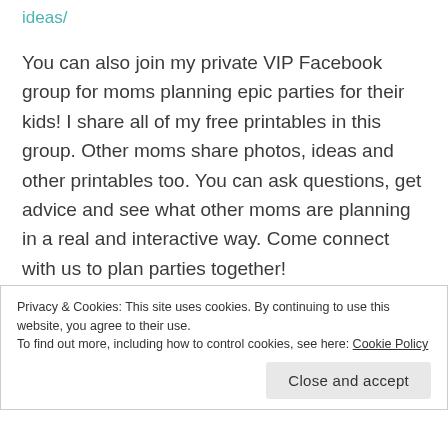ideas/
You can also join my private VIP Facebook group for moms planning epic parties for their kids! I share all of my free printables in this group. Other moms share photos, ideas and other printables too. You can ask questions, get advice and see what other moms are planning in a real and interactive way. Come connect with us to plan parties together!
Includes posts of several great kid birthday parties such as: Moana Birthday Party Ideas, Mermaid Party
Privacy & Cookies: This site uses cookies. By continuing to use this website, you agree to their use.
To find out more, including how to control cookies, see here: Cookie Policy
Close and accept